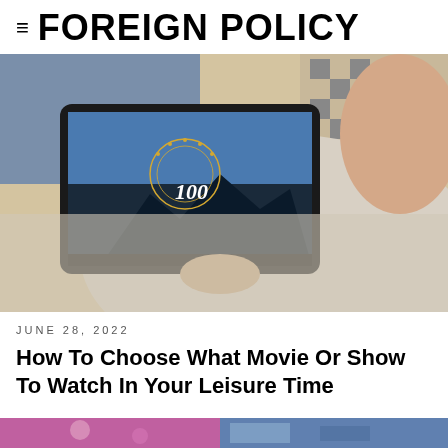≡ FOREIGN POLICY
[Figure (photo): Person relaxing and holding a tablet showing a Paramount+ streaming screen, wearing a grey knit sweater, sitting against a checkered cushion]
JUNE 28, 2022
How To Choose What Movie Or Show To Watch In Your Leisure Time
[Figure (photo): Partially visible colorful image strip at the bottom of the page]